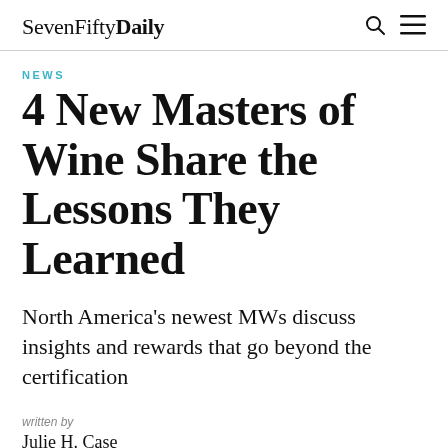SevenFiftyDaily
NEWS
4 New Masters of Wine Share the Lessons They Learned
North America's newest MWs discuss insights and rewards that go beyond the certification
written by
Julie H. Case